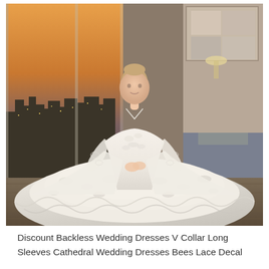[Figure (photo): A woman wearing a white backless wedding ball gown with V-collar, long lace sleeves, and a large cathedral train with lace decal embellishments. She is standing in a luxury room with floor-to-ceiling windows overlooking a city skyline at dusk, and a grey sofa visible in the background.]
Discount Backless Wedding Dresses V Collar Long Sleeves Cathedral Wedding Dresses Bees Lace Decal